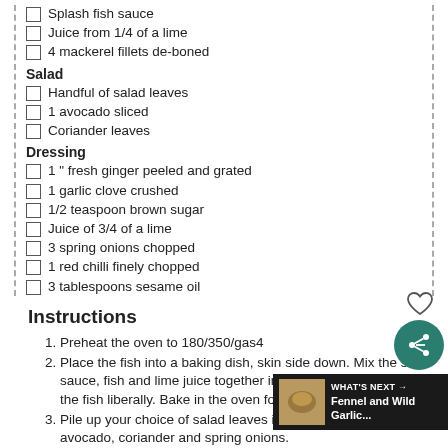Splash fish sauce
Juice from 1/4 of a lime
4 mackerel fillets de-boned
Salad
Handful of salad leaves
1 avocado sliced
Coriander leaves
Dressing
1 " fresh ginger peeled and grated
1 garlic clove crushed
1/2 teaspoon brown sugar
Juice of 3/4 of a lime
3 spring onions chopped
1 red chilli finely chopped
3 tablespoons sesame oil
Instructions
Preheat the oven to 180/350/gas4
Place the fish into a baking dish, skin side down. Mix the soy sauce, fish and lime juice together in a glass and brush it onto the fish liberally. Bake in the oven for 8-10 minutes.
Pile up your choice of salad leaves in two bowls, top with the avocado, coriander and spring onions.
When the fish is cooked flake it into large chunks and tip over the salad leaves.
In a clean glass mix the dressing ingredients together then drizzle over everything.
If you're planning to have this dish as a packed lunch, let the fish cool fully before mixing with the salad bits and store the dressing in a small leak proof pot, and drizzle it over when